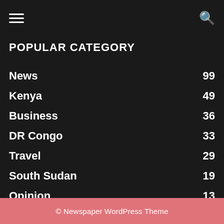POPULAR CATEGORY
News 99
Kenya 49
Business 36
DR Congo 33
Travel 29
South Sudan 19
Opinion 13
Uganda 10
Tanzania 10
© Newspaper WordPress Theme